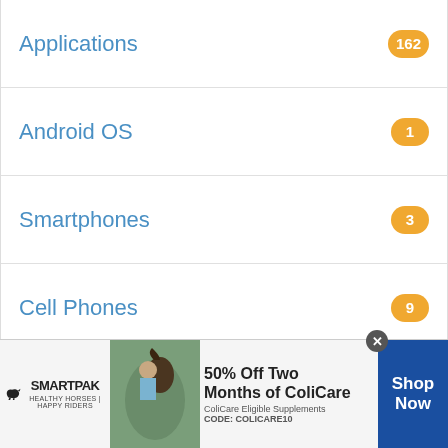Applications 162
Android OS 1
Smartphones 3
Cell Phones 9
Applications 16
Android 38
Travels 6
Photo 21
Education 18
[Figure (photo): SmartPak advertisement banner showing a woman with a horse and text '50% Off Two Months of ColiCare, ColiCare Eligible Supplements, CODE: COLICARE10' with Shop Now button]